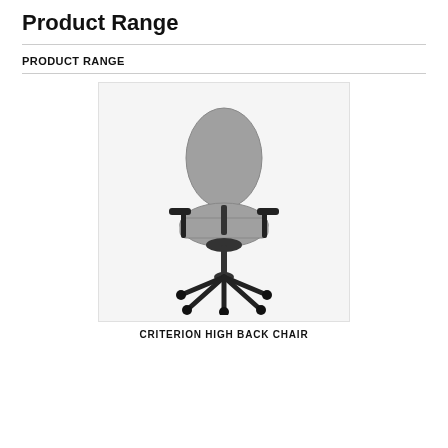Product Range
PRODUCT RANGE
[Figure (photo): Gray ergonomic high-back office chair with black arms, black five-star wheeled base, and adjustable armrests, shown on white background.]
CRITERION HIGH BACK CHAIR